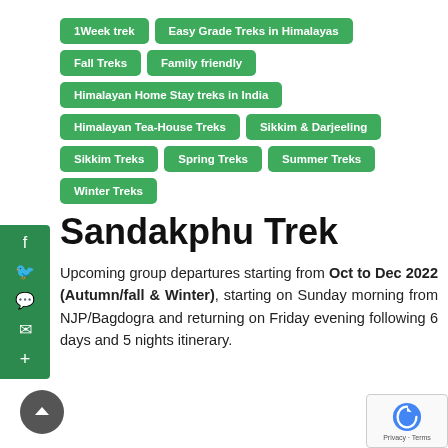1Week trek
Easy Grade Treks in Himalayas
Fall Treks
Family friendly
Himalayan Home Stay treks in India
Himalayan Tea-House Treks
Sikkim & Darjeeling
Sikkim Treks
Spring Treks
Summer Treks
Winter Treks
Sandakphu Trek
Upcoming group departures starting from Oct to Dec 2022 (Autumn/fall & Winter), starting on Sunday morning from NJP/Bagdogra and returning on Friday evening following 6 days and 5 nights itinerary.